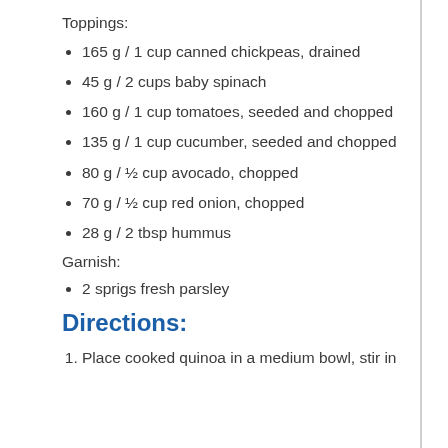Toppings:
165 g / 1 cup canned chickpeas, drained
45 g / 2 cups baby spinach
160 g / 1 cup tomatoes, seeded and chopped
135 g / 1 cup cucumber, seeded and chopped
80 g / ½ cup avocado, chopped
70 g / ½ cup red onion, chopped
28 g / 2 tbsp hummus
Garnish:
2 sprigs fresh parsley
Directions:
1. Place cooked quinoa in a medium bowl, stir in